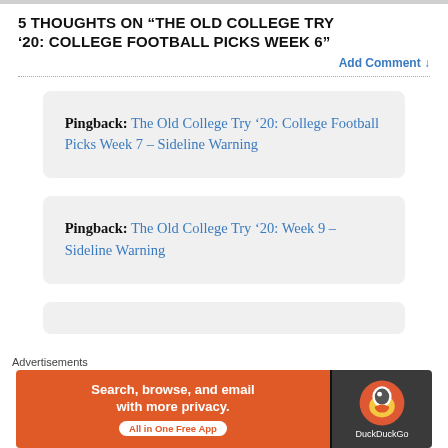5 THOUGHTS ON “THE OLD COLLEGE TRY ’20: COLLEGE FOOTBALL PICKS WEEK 6”
Add Comment ↓
Pingback: The Old College Try ’20: College Football Picks Week 7 – Sideline Warning
Pingback: The Old College Try ’20: Week 9 – Sideline Warning
[Figure (screenshot): Partially visible third pingback box]
[Figure (screenshot): DuckDuckGo advertisement banner: Search, browse, and email with more privacy. All in One Free App. DuckDuckGo logo on dark background.]